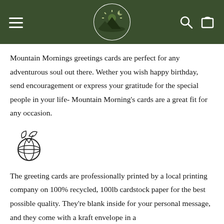Mountain Mornings — navigation header with logo, hamburger menu, search and cart icons
Mountain Mornings greetings cards are perfect for any adventurous soul out there. Wether you wish happy birthday, send encouragement or express your gratitude for the special people in your life- Mountain Morning's cards are a great fit for any occasion.
[Figure (illustration): Eco/green earth globe icon with leaves sprouting from the top, outlined in black on white background]
The greeting cards are professionally printed by a local printing company on 100% recycled, 100lb cardstock paper for the best possible quality. They're blank inside for your personal message, and they come with a kraft envelope in a